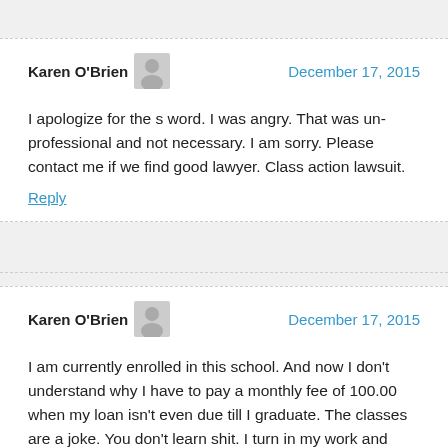Karen O'Brien — December 17, 2015
I apologize for the s word. I was angry. That was un-professional and not necessary. I am sorry. Please contact me if we find good lawyer. Class action lawsuit.
Reply
Karen O'Brien — December 17, 2015
I am currently enrolled in this school. And now I don't understand why I have to pay a monthly fee of 100.00 when my loan isn't even due till I graduate. The classes are a joke. You don't learn shit. I turn in my work and